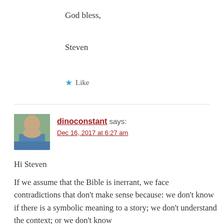God bless,
Steven
★ Like
dinoconstant says:
Dec 16, 2017 at 6:27 am
Hi Steven
If we assume that the Bible is inerrant, we face contradictions that don't make sense because: we don't know if there is a symbolic meaning to a story; we don't understand the context; or we don't know